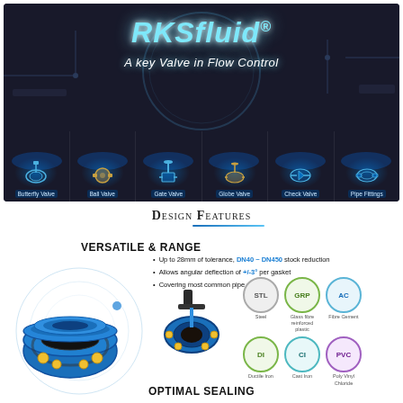[Figure (photo): RKSfluid brand hero image with logo, tagline 'A key Valve in Flow Control', dragon logo in circle, and six valve product photos: Butterfly Valve, Ball Valve, Gate Valve, Globe Valve, Check Valve, Pipe Fittings on dark industrial background]
Design Features
VERSATILE & RANGE
Up to 28mm of tolerance, DN40 ~ DN450 stock reduction
Allows angular deflection of +/-3° per gasket
Covering most common pipe materials
[Figure (photo): Blue ductile iron flexible coupling with yellow bolt caps and rubber gasket]
[Figure (photo): Blue butterfly valve with lever handle]
[Figure (infographic): Six material badges: STL (Steel), GRP (Glass fibre reinforced plastic), AC (Fibre Cement), DI (Ductile Iron), CI (Cast Iron), PVC (Poly Vinyl Chloride)]
OPTIMAL SEALING